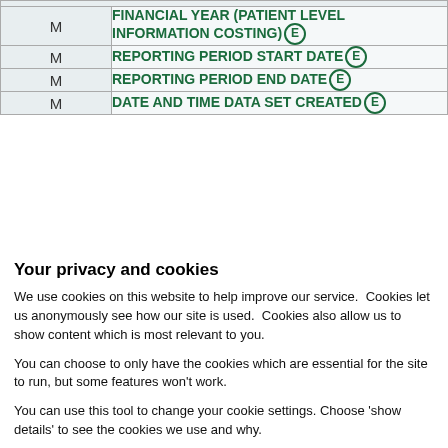|  |  |
| --- | --- |
| M | FINANCIAL YEAR (PATIENT LEVEL INFORMATION COSTING) [e] |
| M | REPORTING PERIOD START DATE [e] |
| M | REPORTING PERIOD END DATE [e] |
| M | DATE AND TIME DATA SET CREATED [e] |
Your privacy and cookies
We use cookies on this website to help improve our service.  Cookies let us anonymously see how our site is used.  Cookies also allow us to show content which is most relevant to you.
You can choose to only have the cookies which are essential for the site to run, but some features won't work.
You can use this tool to change your cookie settings. Choose 'show details' to see the cookies we use and why.
Use necessary cookies only | Allow all cookies
Show details